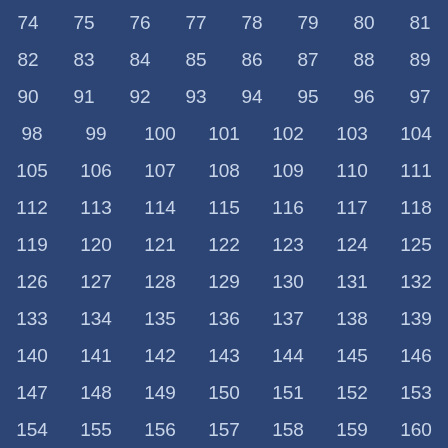74 75 76 77 78 79 80 81 82 83 84 85 86 87 88 89 90 91 92 93 94 95 96 97 98 99 100 101 102 103 104 105 106 107 108 109 110 111 112 113 114 115 116 117 118 119 120 121 122 123 124 125 126 127 128 129 130 131 132 133 134 135 136 137 138 139 140 141 142 143 144 145 146 147 148 149 150 151 152 153 154 155 156 157 158 159 160